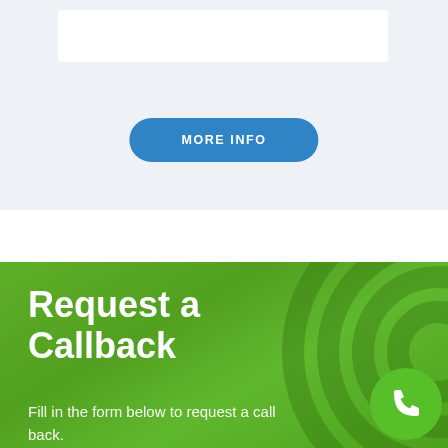[Figure (screenshot): Light gray section with white input box at top and a blue rounded 'MORE INFO' button centered below]
MORE INFO
Request a Callback
Fill in the form below to request a call back.